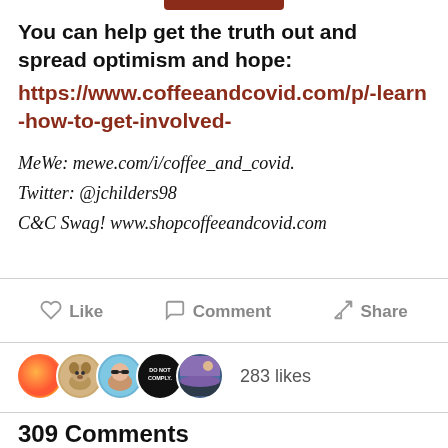[Figure (other): Partial red/brown button or banner at top center of page]
You can help get the truth out and spread optimism and hope:
https://www.coffeeandcovid.com/p/-learn-how-to-get-involved-
MeWe: mewe.com/i/coffee_and_covid.
Twitter: @jchilders98
C&C Swag! www.shopcoffeeandcovid.com
Like   Comment   Share
[Figure (photo): Five circular avatar profile pictures overlapping: orange circle, dog photo, woman with sunglasses, 'DO NOT COMPLY' black badge, scenic purple/blue landscape]
283 likes
309 Comments